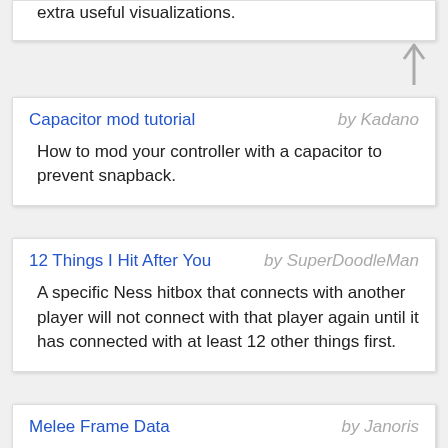extra useful visualizations.
Capacitor mod tutorial by Kadano — How to mod your controller with a capacitor to prevent snapback.
12 Things I Hit After You by SuperDoodleMan — A specific Ness hitbox that connects with another player will not connect with that player again until it has connected with at least 12 other things first.
Melee Frame Data by Janoris — A website containing the hitbox data for all characters'